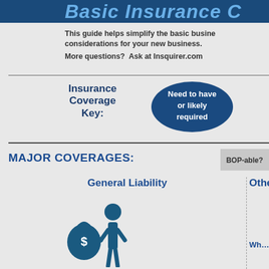Basic Insurance C…
This guide helps simplify the basic business considerations for your new business.
More questions?  Ask at Insquirer.com
Insurance Coverage Key:
[Figure (infographic): Oval badge with text: Need to have or likely required]
MAJOR COVERAGES:
BOP-able?
General Liability
[Figure (illustration): Blue icon of a person holding a money bag with dollar sign]
Othe…
Wh…